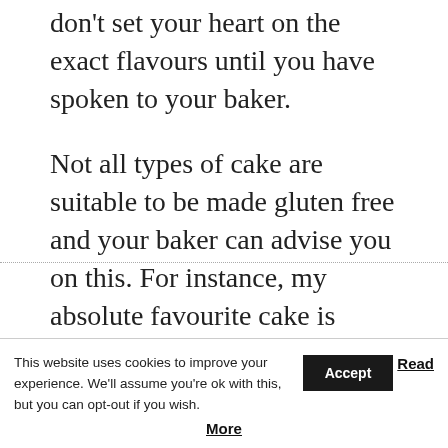don't set your heart on the exact flavours until you have spoken to your baker.
Not all types of cake are suitable to be made gluten free and your baker can advise you on this. For instance, my absolute favourite cake is chocolate Guinness cake. Obviously Guinness contains gluten and there is no suitable gluten-free alternative for this.
This website uses cookies to improve your experience. We'll assume you're ok with this, but you can opt-out if you wish. Accept Read More